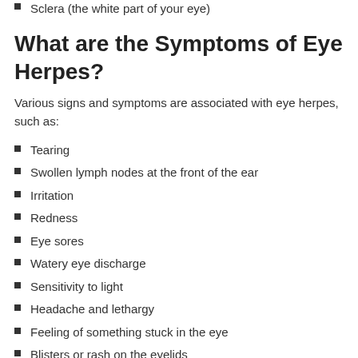Sclera (the white part of your eye)
What are the Symptoms of Eye Herpes?
Various signs and symptoms are associated with eye herpes, such as:
Tearing
Swollen lymph nodes at the front of the ear
Irritation
Redness
Eye sores
Watery eye discharge
Sensitivity to light
Headache and lethargy
Feeling of something stuck in the eye
Blisters or rash on the eyelids
Reduced or blurred vision
While eye herpes usually affects only one eye, it's not